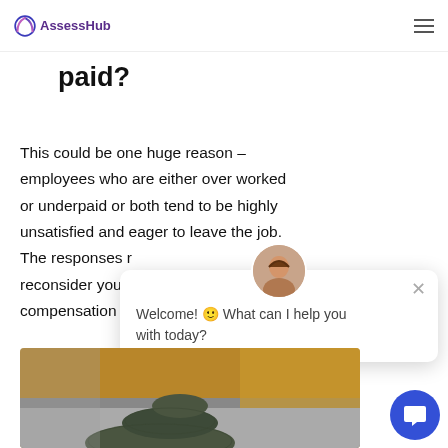AssessHub
paid?
This could be one huge reason – employees who are either over worked or underpaid or both tend to be highly unsatisfied and eager to leave the job. The responses r… reconsider your… compensation p…
[Figure (screenshot): Chat widget popup with avatar and welcome message: 'Welcome! 🙂 What can I help you with today?']
[Figure (photo): Stacked zen stones (pebbles) balancing on surface with blurred golden-brown background]